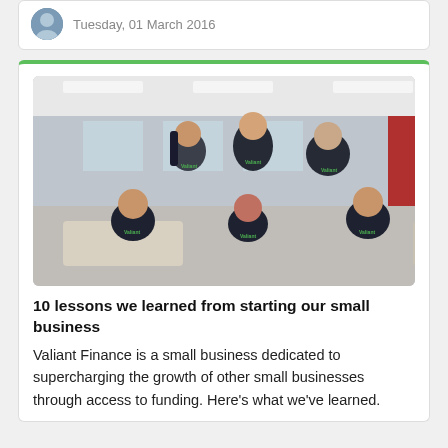Tuesday, 01 March 2016
[Figure (photo): Group photo of six people wearing Valiant branded dark navy t-shirts, posed in an office/lobby environment. Three standing in back row, three seated/crouching in front row.]
10 lessons we learned from starting our small business
Valiant Finance is a small business dedicated to supercharging the growth of other small businesses through access to funding. Here's what we've learned.